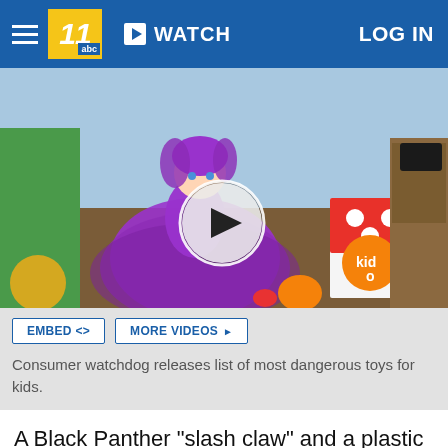11 abc | WATCH | LOG IN
[Figure (screenshot): Video thumbnail showing a purple fairy doll and a 'kido' branded box on a table, with a circular play button overlay in the center.]
EMBED <>   MORE VIDEOS ▶
Consumer watchdog releases list of most dangerous toys for kids.
A Black Panther "slash claw" and a plastic Power Rangers sword are among the items topping a consumer safety group's annual list of worst toys for the holiday season.